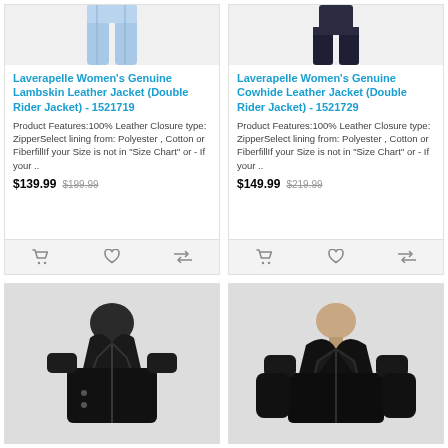[Figure (photo): Photo of light blue jeans (legs only visible), product image for lambskin leather jacket listing]
Laverapelle Women's Genuine Lambskin Leather Jacket (Double Rider Jacket) - 1521719
Product Features:100% Leather Closure type: ZipperSelect lining from: Polyester , Cotton or FiberfillIf your Size is not in "Size Chart" or - If your ..
$139.99  $199.99
[Figure (photo): Photo of dark trousers (legs/torso only visible), product image for cowhide leather jacket listing]
Laverapelle Women's Genuine Cowhide Leather Jacket (Double Rider Jacket) - 1521729
Product Features:100% Leather Closure type: ZipperSelect lining from: Polyester , Cotton or FiberfillIf your Size is not in "Size Chart" or - If your ..
$149.99  $219.99
[Figure (photo): Photo of black leather motorcycle jacket (upper body), partially visible at bottom of page]
[Figure (photo): Photo of black leather motorcycle jacket on male model (upper body), partially visible at bottom of page]